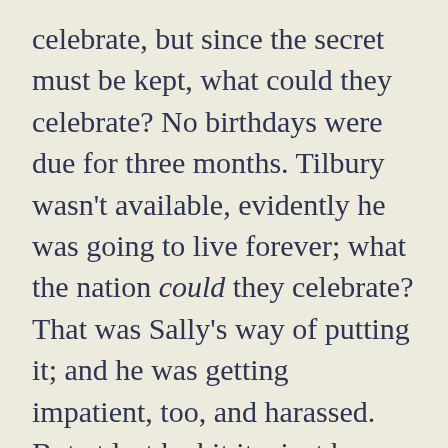celebrate, but since the secret must be kept, what could they celebrate? No birthdays were due for three months. Tilbury wasn't available, evidently he was going to live forever; what the nation could they celebrate? That was Sally's way of putting it; and he was getting impatient, too, and harassed. But at last he hit it-- just by sheer inspiration, as it seemed to him-- and all their troubles were gone in a moment; they would celebrate the Discovery of America. A splendid idea!

Aleck was almost too proud of Sally for